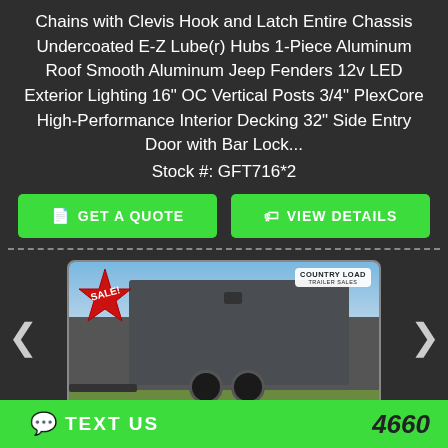Chains with Clevis Hook and Latch Entire Chassis Undercoated E-Z Lube(r) Hubs 1-Piece Aluminum Roof Smooth Aluminum Jeep Fenders 12v LED Exterior Lighting 16" OC Vertical Posts 3/4" PlexCore High-Performance Interior Decking 32" Side Entry Door with Bar Lock...
Stock #: GFT716*2
GET A QUOTE
VIEW DETAILS
[Figure (photo): Photo of a dark gray enclosed trailer on a field/grass area with blue sky. Has a red SALE starburst badge in the top left and a Country Load Trailer Sales logo in the top right.]
TEXT US
4660